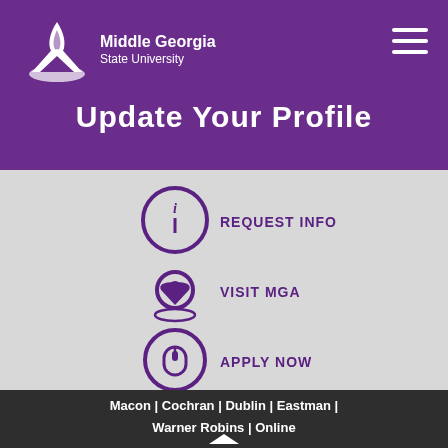[Figure (logo): Middle Georgia State University logo with flame icon and university name in white on purple background]
Update Your Profile
[Figure (infographic): Three navigation icons on gray background: REQUEST INFO (circle with i), VISIT MGA (location pin), APPLY NOW (computer mouse in circle), all in purple]
Macon | Cochran | Dublin | Eastman | Warner Robins | Online
[Figure (logo): Partial Middle Georgia State University flame logo at bottom of dark footer]